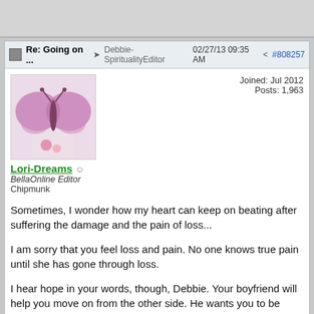Re: Going on ... → Debbie-SpiritualityEditor 02/27/13 09:35 AM < #808257
Lori-Dreams ☺ BellaOnline Editor Chipmunk — Joined: Jul 2012 Posts: 1,963
Sometimes, I wonder how my heart can keep on beating after suffering the damage and the pain of loss...

I am sorry that you feel loss and pain. No one knows true pain until she has gone through loss.

I hear hope in your words, though, Debbie. Your boyfriend will help you move on from the other side. He wants you to be happy again. I feel that.

But be gentle and patient with yourself. A year is not a long time.
Re: Going on Year Tw... → Lori-Dreams 03/03/13 04:35 PM < #309294
Debbie-SpiritualityEditor ☺ OP BellaOnline Editor Elephant — Joined: Jan 2010 Posts: 4,808